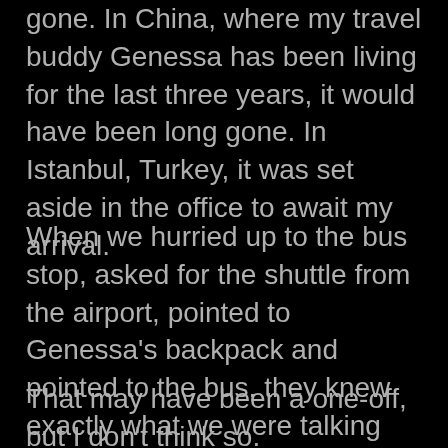gone. In China, where my travel buddy Genessa has been living for the last three years, it would have been long gone. In Istanbul, Turkey, it was set aside in the office to await my arrival.
When we hurried up to the bus stop, asked for the shuttle from the airport, pointed to Genessa's backpack and pointed to the bus, they knew exactly what we were talking about and led us to the office.
That may have been a one-off, but I don't think so.